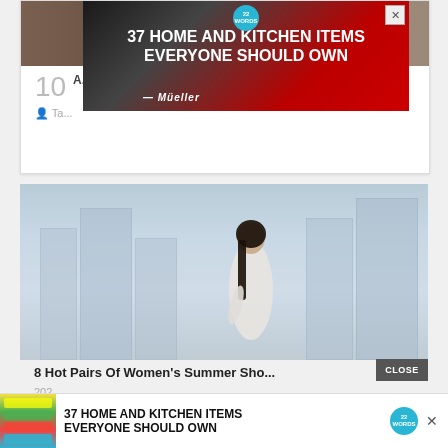[Figure (screenshot): Advertisement banner showing knife sharpener with text '37 HOME AND KITCHEN ITEMS EVERYONE SHOULD OWN' and Mueller brand logo, with a close X button, overlaying a partial article card showing number 10 and partial text and author icon]
[Figure (photo): Photo of a woman with dark hair sitting on a rooftop or elevated surface in front of a city skyline with modern glass buildings, wearing a white top]
8 Hot Pairs Of Women's Summer Sho...
202...
[Figure (screenshot): Bottom advertisement banner with colorful ziplock bag images and text '37 HOME AND KITCHEN ITEMS EVERYONE SHOULD OWN' with 22 Words logo badge and X close button]